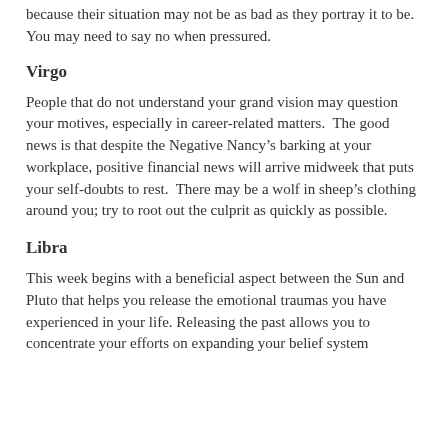because their situation may not be as bad as they portray it to be.  You may need to say no when pressured.
Virgo
People that do not understand your grand vision may question your motives, especially in career-related matters.  The good news is that despite the Negative Nancy’s barking at your workplace, positive financial news will arrive midweek that puts your self-doubts to rest.  There may be a wolf in sheep’s clothing around you; try to root out the culprit as quickly as possible.
Libra
This week begins with a beneficial aspect between the Sun and Pluto that helps you release the emotional traumas you have experienced in your life. Releasing the past allows you to concentrate your efforts on expanding your belief system